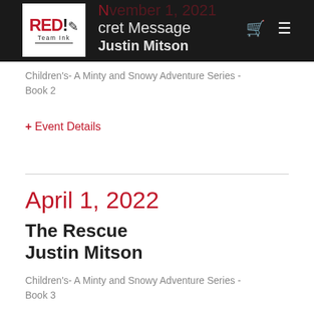[Figure (logo): Red Team Ink logo - white box with RED! text and Team Ink subtext on dark header bar]
November 1, 2021 | Secret Message | Justin Mitson
Children's- A Minty and Snowy Adventure Series - Book 2
+ Event Details
April 1, 2022
The Rescue
Justin Mitson
Children's- A Minty and Snowy Adventure Series - Book 3